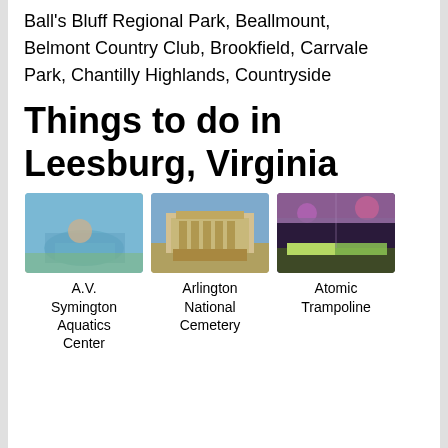Ball's Bluff Regional Park, Beallmount, Belmont Country Club, Brookfield, Carrvale Park, Chantilly Highlands, Countryside
Things to do in Leesburg, Virginia
[Figure (photo): Three photos showing A.V. Symington Aquatics Center (outdoor pool area), Arlington National Cemetery (classical building with columns), and Atomic Trampoline (indoor trampoline park with colorful lighting)]
A.V. Symington Aquatics Center
Arlington National Cemetery
Atomic Trampoline